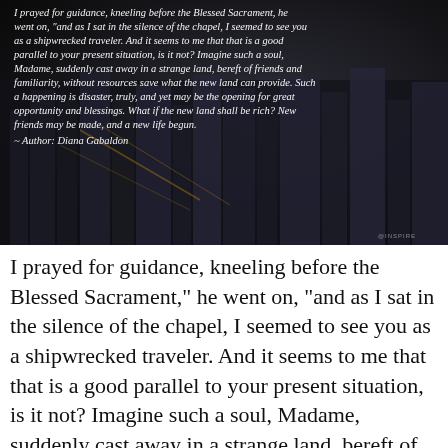[Figure (photo): Dark aerial city background with skyscrapers at night, overlaid with italic white quote text from Diana Gabaldon about a shipwrecked traveler, with a small watermark in the bottom right corner.]
I prayed for guidance, kneeling before the Blessed Sacrament," he went on, "and as I sat in the silence of the chapel, I seemed to see you as a shipwrecked traveler. And it seems to me that that is a good parallel to your present situation, is it not? Imagine such a soul, Madame, suddenly cast away in a strange land, bereft of friends and familiarity, without resources save what the new land can provide. Such a happening is disaster, truly, and yet may be the opening for great opportunity and blessings. What if the new land shall be rich? New friends may be made, and a new life begun.
~ Author: Diana Gabaldon
I prayed for guidance, kneeling before the Blessed Sacrament," he went on, "and as I sat in the silence of the chapel, I seemed to see you as a shipwrecked traveler. And it seems to me that that is a good parallel to your present situation, is it not? Imagine such a soul, Madame, suddenly cast away in a strange land, bereft of friends and familiarity, without resources save what the new land can provide. Such a happening is disaster, truly, and yet may be the opening for great